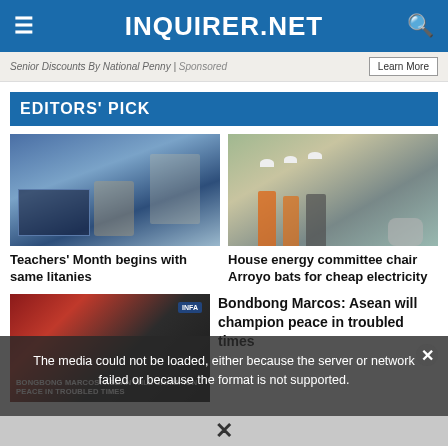INQUIRER.NET
Senior Discounts By National Penny | Sponsored
EDITORS' PICK
[Figure (photo): Person at computer holding Philippine peso bills, blue-tinted interior scene]
Teachers' Month begins with same litanies
[Figure (photo): Workers in orange vests and hard hats walking along a construction/infrastructure site]
House energy committee chair Arroyo bats for cheap electricity
[Figure (photo): Video thumbnail: BONGBONG MARCOS: ASEAN WILL CHAMPION PEACE IN TROUBLED TIMES with red and dark background]
Bondbong Marcos: Asean will champion peace in troubled times
The media could not be loaded, either because the server or network failed or because the format is not supported.